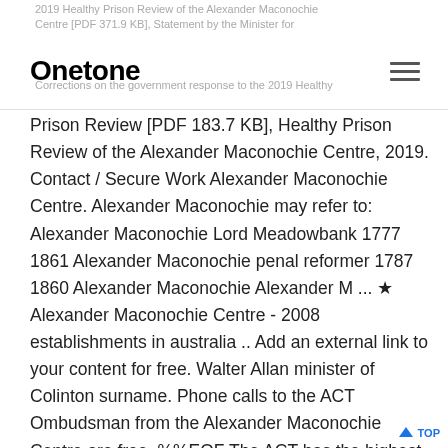2019 Healthy Prison Review of the Alexander Maconochie Centre [PDF 371.9 KB], Statement by the Minister for Corrections on the government response to the 2019 Healthy
Onetone
Prison Review [PDF 183.7 KB], Healthy Prison Review of the Alexander Maconochie Centre, 2019. Contact / Secure Work Alexander Maconochie Centre. Alexander Maconochie may refer to: Alexander Maconochie Lord Meadowbank 1777 1861 Alexander Maconochie penal reformer 1787 1860 Alexander Maconochie Alexander M ... ★ Alexander Maconochie Centre - 2008 establishments in australia .. Add an external link to your content for free. Walter Allan minister of Colinton surname. Phone calls to the ACT Ombudsman from the Alexander Maconochie Centre are free. %%EOF The ACT has the highest recidivism rate in Australia. Foursquare uses cookies to provide you with an optimal experience, to personalize ads that you may see, and to help advertisers measure the results of their ad campaigns. ACTCOSS CEO Dr Emma Campbell said: “We condemn yesterday’s disturbance in the prison that endangered